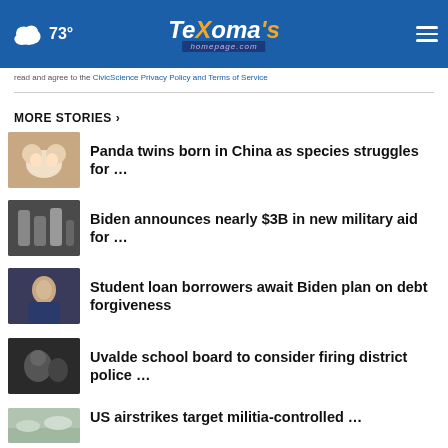73° Texoma's homepage.com
read and agree to the CivicScience Privacy Policy and Terms of Service
MORE STORIES ›
Panda twins born in China as species struggles for …
Biden announces nearly $3B in new military aid for …
Student loan borrowers await Biden plan on debt forgiveness
Uvalde school board to consider firing district police …
US airstrikes target militia-controlled …